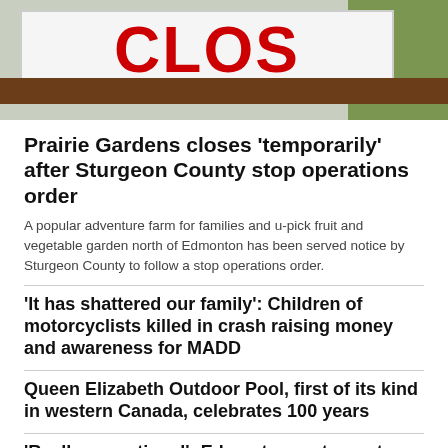[Figure (photo): Photo of a sign with red text and a brown rail/bar, with green grass visible in the background, partially cropped at top]
Prairie Gardens closes 'temporarily' after Sturgeon County stop operations order
A popular adventure farm for families and u-pick fruit and vegetable garden north of Edmonton has been served notice by Sturgeon County to follow a stop operations order.
'It has shattered our family': Children of motorcyclists killed in crash raising money and awareness for MADD
Queen Elizabeth Outdoor Pool, first of its kind in western Canada, celebrates 100 years
'Really exceptional': Edmonton restaurant receives high praise from New York Times reporter